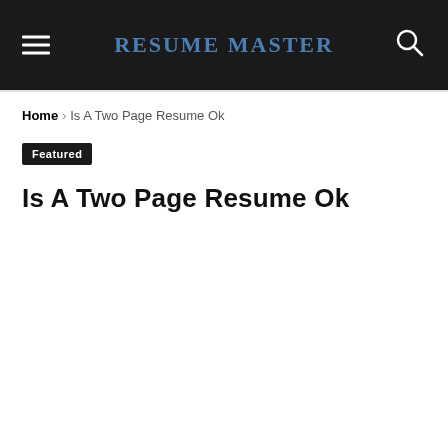RESUME MASTER
Home › Is A Two Page Resume Ok
Featured
Is A Two Page Resume Ok